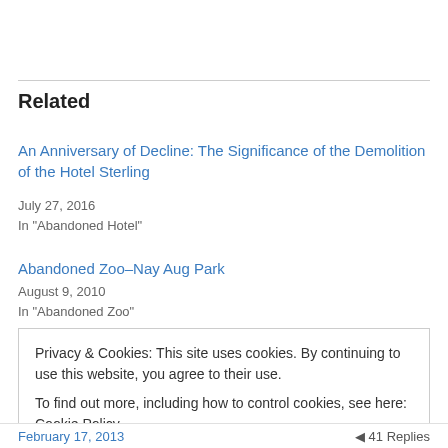Related
An Anniversary of Decline: The Significance of the Demolition of the Hotel Sterling
July 27, 2016
In "Abandoned Hotel"
Abandoned Zoo–Nay Aug Park
August 9, 2010
In "Abandoned Zoo"
Privacy & Cookies: This site uses cookies. By continuing to use this website, you agree to their use.
To find out more, including how to control cookies, see here: Cookie Policy
Close and accept
February 17, 2013    41 Replies